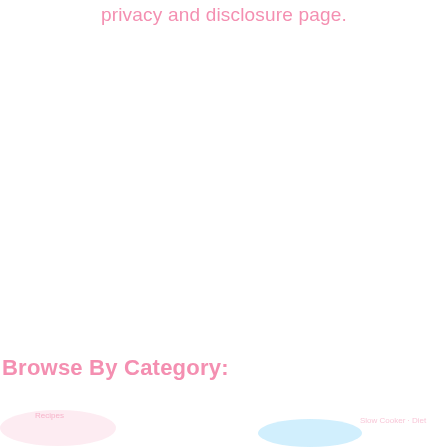privacy and disclosure page.
Browse By Category:
[Figure (other): Partial bottom navigation/category browsing area with light pink and blue decorative blobs and faint category labels]